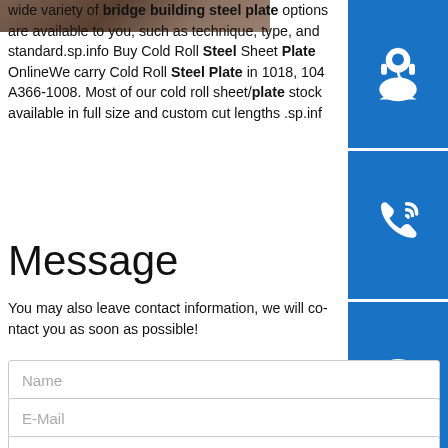[Figure (photo): Partial photo of steel plate/bridge building material shown in top left corner]
wide variety of bridge building steel plate options are available to you, such as technique, type, and standard.sp.info Buy Cold Roll Steel Sheet Plate OnlineWe carry Cold Roll Steel Plate in 1018, 104 A366-1008. Most of our cold roll sheet/plate stock available in full size and custom cut lengths .sp.info
[Figure (illustration): Blue square button with white headset/customer service icon]
[Figure (illustration): Blue square button with white phone/call icon]
[Figure (illustration): Blue square button with white Skype icon (S)]
Message
You may also leave contact information, we will contact you as soon as possible!
Name
E-Mail
Messages